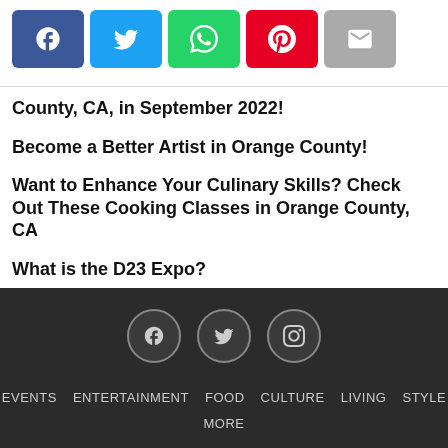[Figure (other): Social share buttons: Facebook (blue), Twitter (light blue), WhatsApp (green), Pinterest (red), Email (grey)]
County, CA, in September 2022!
Become a Better Artist in Orange County!
Want to Enhance Your Culinary Skills? Check Out These Cooking Classes in Orange County, CA
What is the D23 Expo?
EVENTS   ENTERTAINMENT   FOOD   CULTURE   LIVING   STYLE   MORE